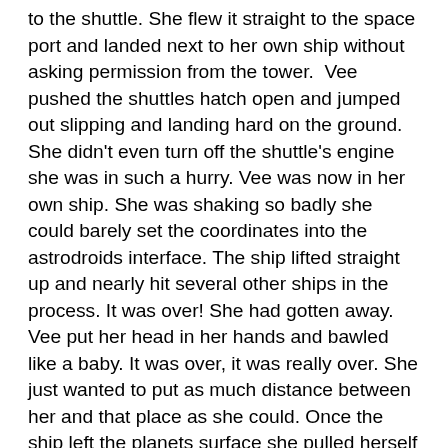to the shuttle. She flew it straight to the space port and landed next to her own ship without asking permission from the tower.  Vee pushed the shuttles hatch open and jumped out slipping and landing hard on the ground. She didn't even turn off the shuttle's engine she was in such a hurry. Vee was now in her own ship. She was shaking so badly she could barely set the coordinates into the astrodroids interface. The ship lifted straight up and nearly hit several other ships in the process. It was over! She had gotten away. Vee put her head in her hands and bawled like a baby. It was over, it was really over. She just wanted to put as much distance between her and that place as she could. Once the ship left the planets surface she pulled herself together enough to hop down to her cabin. She made it to her bed and flopped down in it. Vee's ankle was getting pretty swollen by now so she jammed some pillows under it as to give it some elevation. She lay on her back and covered her face with her hands. That was close, way to close. How could she be so stupid? She new she wouldn't be able to charm her way out of